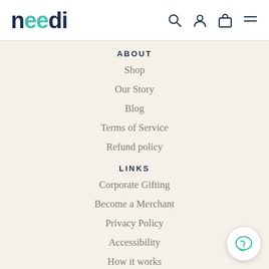[Figure (logo): needi logo with teal colored double-e letters on dark navy text]
ABOUT
Shop
Our Story
Blog
Terms of Service
Refund policy
LINKS
Corporate Gifting
Become a Merchant
Privacy Policy
Accessibility
How it works
Gift Tag Giftees
Angels Event